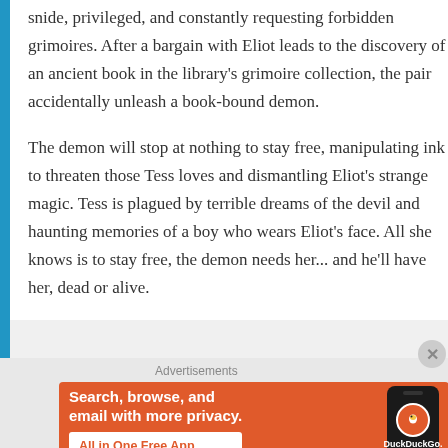snide, privileged, and constantly requesting forbidden grimoires. After a bargain with Eliot leads to the discovery of an ancient book in the library's grimoire collection, the pair accidentally unleash a book-bound demon.
The demon will stop at nothing to stay free, manipulating ink to threaten those Tess loves and dismantling Eliot's strange magic. Tess is plagued by terrible dreams of the devil and haunting memories of a boy who wears Eliot's face. All she knows is to stay free, the demon needs her... and he'll have her, dead or alive.
[Figure (infographic): DuckDuckGo advertisement banner on orange background: 'Search, browse, and email with more privacy. All in One Free App' with DuckDuckGo logo and a phone illustration]